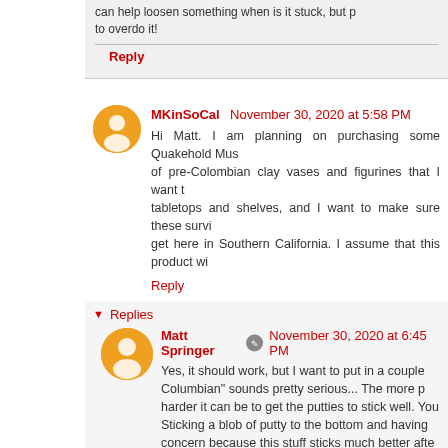can help loosen something when is it stuck, but p... to overdo it!
Reply
MKinSoCal  November 30, 2020 at 5:58 PM
Hi Matt. I am planning on purchasing some Quakehold Mus... of pre-Colombian clay vases and figurines that I want t... tabletops and shelves, and I want to make sure these survi... get here in Southern California. I assume that this product wi...
Reply
Replies
Matt Springer  November 30, 2020 at 6:45 PM
Yes, it should work, but I want to put in a couple... Columbian" sounds pretty serious... The more p... harder it can be to get the putties to stick well. Yo... Sticking a blob of putty to the bottom and having... concern because this stuff sticks much better afte... you might want to try mounting one and seeing... remove it. And if the bottom is rough, that can ca... products assume that two flat surfaces are b...